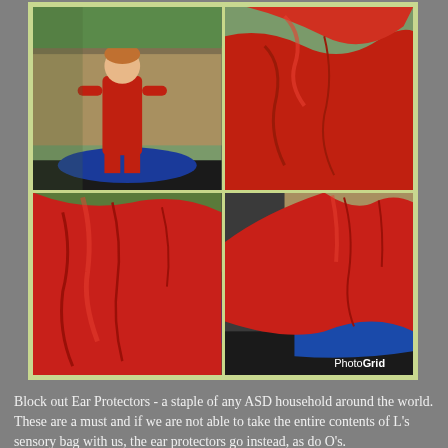[Figure (photo): A 4-photo collage showing a young child in a red cape/garment standing on a trampoline with blue cushions, and three other photos of red fabric/sheet draped over blue cushions on a trampoline. PhotoGrid watermark visible on bottom-right photo.]
Block out Ear Protectors - a staple of any ASD household around the world. These are a must and if we are not able to take the entire contents of L's sensory bag with us, the ear protectors go instead, as do O's.
There is absolutely nothing wrong with L's hearing at all - he can hear a pin drop in the next room. The downside to L's hearing is that noise can become incredibly painful, very very quickly.